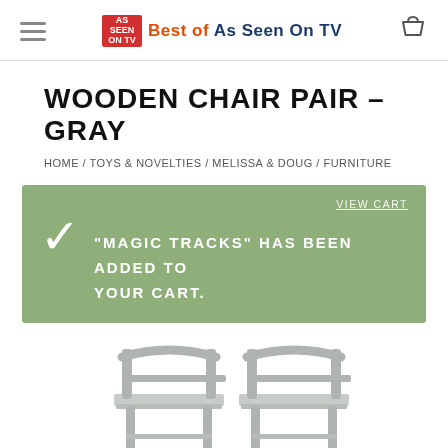Best of As Seen On TV
WOODEN CHAIR PAIR – GRAY
HOME / TOYS & NOVELTIES / MELISSA & DOUG / FURNITURE
VIEW CART
"MAGIC TRACKS" HAS BEEN ADDED TO YOUR CART.
[Figure (photo): Two gray wooden folding chairs side by side, shown from the front, partial view cropped at bottom of page.]